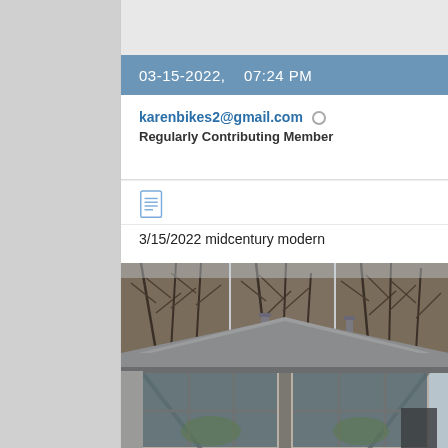03-15-2022,    07:24 PM
karenbikes2@gmail.com
Regularly Contributing Member
[Figure (other): Document/notes icon]
3/15/2022 midcentury modern
[Figure (photo): Photograph of a midcentury modern house showing a peaked roofline with large floor-to-ceiling windows, gray exterior, and bare deciduous trees in the background.]